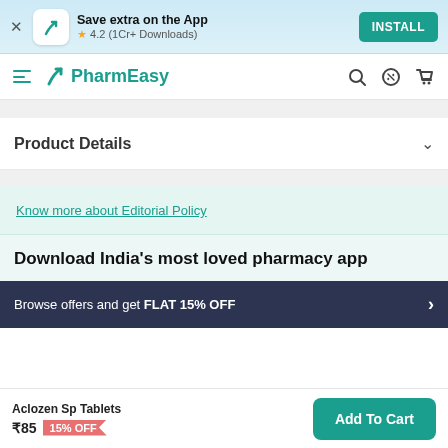Save extra on the App | ★ 4.2 (1Cr+ Downloads) | INSTALL
PharmEasy
Product Details
Know more about Editorial Policy
Download India's most loved pharmacy app
Browse offers and get FLAT 15% OFF
Aclozen Sp Tablets ₹85 15% OFF | Add To Cart